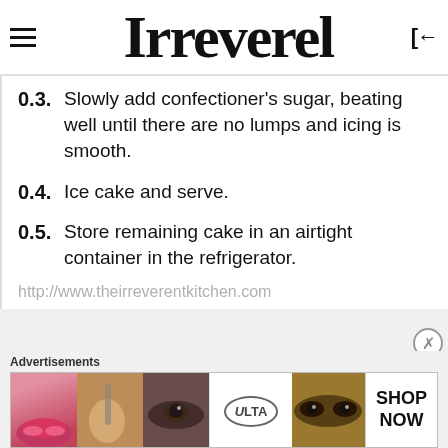Irreverend
0.3.   Slowly add confectioner's sugar, beating well until there are no lumps and icing is smooth.
0.4.   Ice cake and serve.
0.5.   Store remaining cake in an airtight container in the refrigerator.
http://www.theirreverentkitchen.com
Advertisements